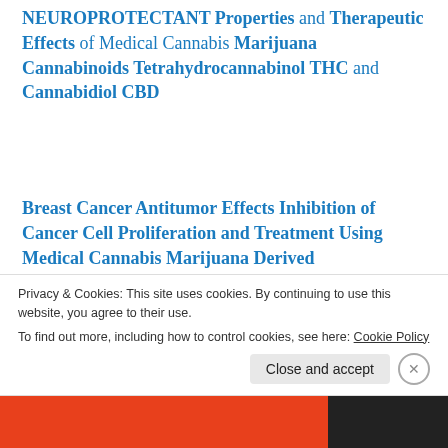NEUROPROTECTANT Properties and Therapeutic Effects of Medical Cannabis Marijuana Cannabinoids Tetrahydrocannabinol THC and Cannabidiol CBD
Breast Cancer Antitumor Effects Inhibition of Cancer Cell Proliferation and Treatment Using Medical Cannabis Marijuana Derived Cannabinoids Tetrahydrocannabinol Cannabidiol Cannabigerol Cannabichromene Cannabidiol Acid and
Privacy & Cookies: This site uses cookies. By continuing to use this website, you agree to their use. To find out more, including how to control cookies, see here: Cookie Policy